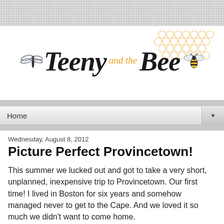[Figure (logo): Teeny and the Bee blog logo with dragonfly, script text, honeycomb pattern, and bee illustration]
Home
Wednesday, August 8, 2012
Picture Perfect Provincetown!
This summer we lucked out and got to take a very short, unplanned, inexpensive trip to Provincetown. Our first time! I lived in Boston for six years and somehow managed never to get to the Cape. And we loved it so much we didn't want to come home.
What happened was this: we were unable to take our